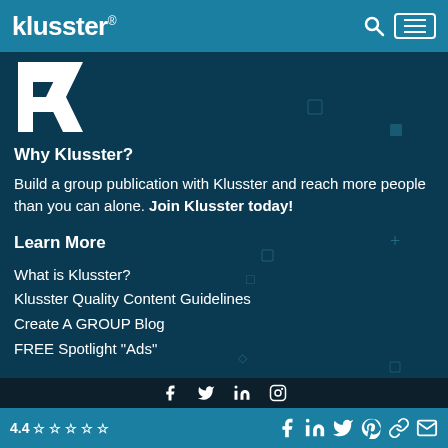klusster®
[Figure (logo): Klusster logo mark – white abstract K shape on dark teal background]
Why Klusster?
Build a group publication with Klusster and reach more people than you can alone. Join Klusster today!
Learn More
What is Klusster?
Klusster Quality Content Guidelines
Create A GROUP Blog
FREE Spotlight "Ads"
4.4 ☆☆☆☆☆ (social icons: Facebook, LinkedIn, Twitter, Pinterest, link, email)